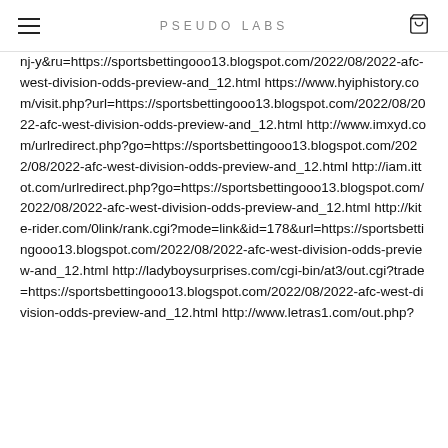PSEUDO LABS
nj-y&ru=https://sportsbettingooo13.blogspot.com/2022/08/2022-afc-west-division-odds-preview-and_12.html https://www.hyiphistory.com/visit.php?url=https://sportsbettingooo13.blogspot.com/2022/08/2022-afc-west-division-odds-preview-and_12.html http://www.imxyd.com/urlredirect.php?go=https://sportsbettingooo13.blogspot.com/2022/08/2022-afc-west-division-odds-preview-and_12.html http://iam.ittot.com/urlredirect.php?go=https://sportsbettingooo13.blogspot.com/2022/08/2022-afc-west-division-odds-preview-and_12.html http://kite-rider.com/0link/rank.cgi?mode=link&id=178&url=https://sportsbettingooo13.blogspot.com/2022/08/2022-afc-west-division-odds-preview-and_12.html http://ladyboysurprises.com/cgi-bin/at3/out.cgi?trade=https://sportsbettingooo13.blogspot.com/2022/08/2022-afc-west-division-odds-preview-and_12.html http://www.letras1.com/out.php?